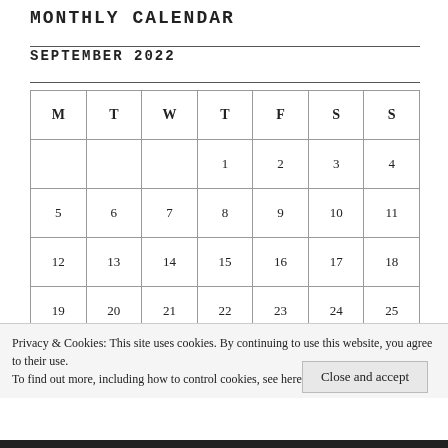MONTHLY CALENDAR
SEPTEMBER 2022
| M | T | W | T | F | S | S |
| --- | --- | --- | --- | --- | --- | --- |
|  |  |  | 1 | 2 | 3 | 4 |
| 5 | 6 | 7 | 8 | 9 | 10 | 11 |
| 12 | 13 | 14 | 15 | 16 | 17 | 18 |
| 19 | 20 | 21 | 22 | 23 | 24 | 25 |
| 26 | 27 | 28 | 29 | 30 |  |  |
Privacy & Cookies: This site uses cookies. By continuing to use this website, you agree to their use.
To find out more, including how to control cookies, see here: Cookie Policy
Close and accept